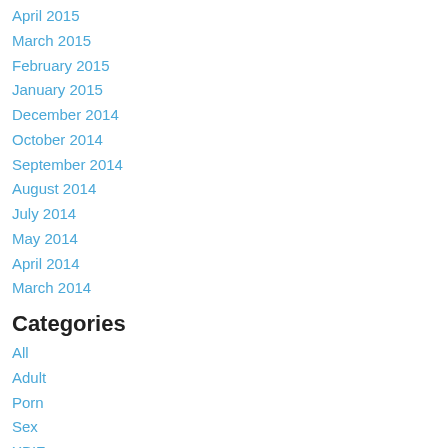April 2015
March 2015
February 2015
January 2015
December 2014
October 2014
September 2014
August 2014
July 2014
May 2014
April 2014
March 2014
Categories
All
Adult
Porn
Sex
XBIZ
RSS Feed